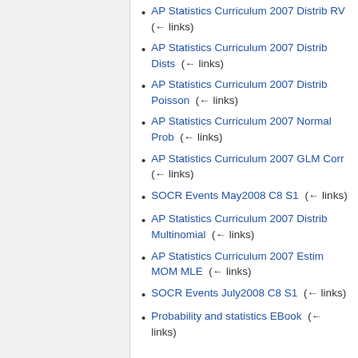AP Statistics Curriculum 2007 Distrib RV  (← links)
AP Statistics Curriculum 2007 Distrib Dists  (← links)
AP Statistics Curriculum 2007 Distrib Poisson  (← links)
AP Statistics Curriculum 2007 Normal Prob  (← links)
AP Statistics Curriculum 2007 GLM Corr  (← links)
SOCR Events May2008 C8 S1  (← links)
AP Statistics Curriculum 2007 Distrib Multinomial  (← links)
AP Statistics Curriculum 2007 Estim MOM MLE  (← links)
SOCR Events July2008 C8 S1  (← links)
Probability and statistics EBook  (← links)